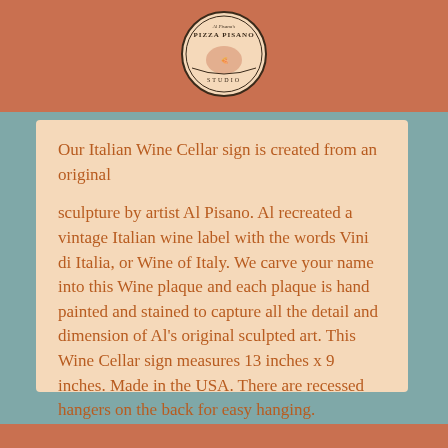[Figure (logo): Pizza Pisano Studio circular logo with text and illustration, centered in terracotta/rust colored header bar]
Our Italian Wine Cellar sign is created from an original
sculpture by artist Al Pisano. Al recreated a vintage Italian wine label with the words Vini di Italia, or Wine of Italy. We carve your name into this Wine plaque and each plaque is hand painted and stained to capture all the detail and dimension of Al's original sculpted art. This Wine Cellar sign measures 13 inches x 9 inches. Made in the USA. There are recessed hangers on the back for easy hanging.